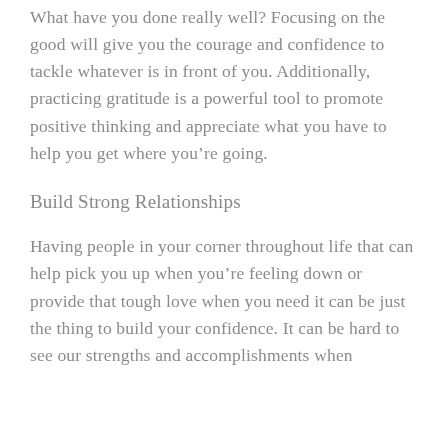What have you done really well? Focusing on the good will give you the courage and confidence to tackle whatever is in front of you. Additionally, practicing gratitude is a powerful tool to promote positive thinking and appreciate what you have to help you get where you're going.
Build Strong Relationships
Having people in your corner throughout life that can help pick you up when you're feeling down or provide that tough love when you need it can be just the thing to build your confidence. It can be hard to see our strengths and accomplishments when